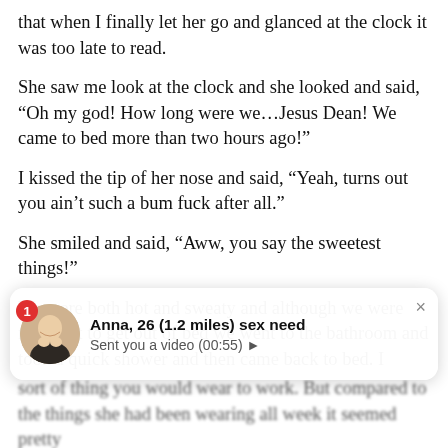that when I finally let her go and glanced at the clock it was too late to read.
She saw me look at the clock and she looked and said, “Oh my god! How long were we…Jesus Dean! We came to bed more than two hours ago!”
I kissed the tip of her nose and said, “Yeah, turns out you ain’t such a bum fuck after all.”
She smiled and said, “Aww, you say the sweetest things!”
We were both hot and sweaty and although we were reluctant to get out of bed we went to the bathroom and took a quick shower and then came back to bed. I didn’t feel like reading any longer. We held each other for a few more minutes and the next thing I knew it was time to get
[Figure (screenshot): Mobile notification popup showing 'Anna, 26 (1.2 miles) sex need' with a profile photo and message 'Sent you a video (00:55)' and a close button. Red badge with number 1.]
sort of thing you would wear to work. But compared to the things she had been wearing all week it seemed pretty